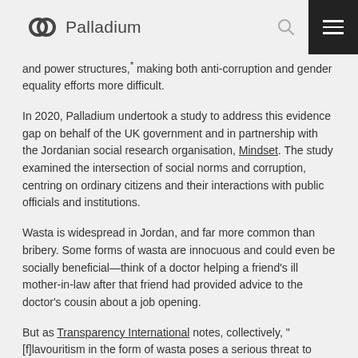Palladium
and power structures,* making both anti-corruption and gender equality efforts more difficult.
In 2020, Palladium undertook a study to address this evidence gap on behalf of the UK government and in partnership with the Jordanian social research organisation, Mindset. The study examined the intersection of social norms and corruption, centring on ordinary citizens and their interactions with public officials and institutions.
Wasta is widespread in Jordan, and far more common than bribery. Some forms of wasta are innocuous and could even be socially beneficial—think of a doctor helping a friend's ill mother-in-law after that friend had provided advice to the doctor's cousin about a job opening.
But as Transparency International notes, collectively, "[f]lavouritism in the form of wasta poses a serious threat to social and economic equality, basic human rights and the rule of law." This kind of